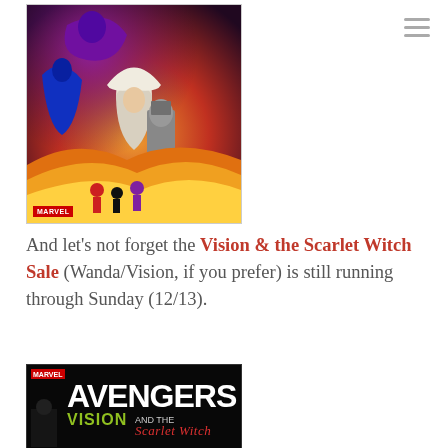[Figure (illustration): Marvel comic book cover art showing a group of superhero characters including a woman in a white hood, Doctor Doom in armor, and various other Marvel characters against a fiery/purple dramatic background. MARVEL logo badge in bottom left.]
And let’s not forget the Vision & the Scarlet Witch Sale (Wanda/Vision, if you prefer) is still running through Sunday (12/13).
[Figure (illustration): Marvel Avengers graphic novel cover featuring 'VISION AND THE SCARLET WITCH' title text on a black background with stylized lettering. MARVEL logo badge in top left.]